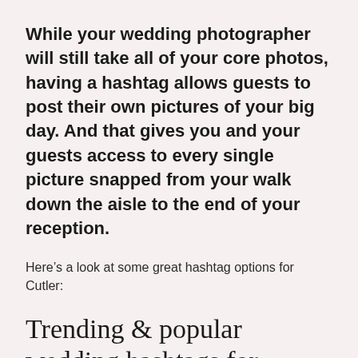While your wedding photographer will still take all of your core photos, having a hashtag allows guests to post their own pictures of your big day. And that gives you and your guests access to every single picture snapped from your walk down the aisle to the end of your reception.
Here's a look at some great hashtag options for Cutler:
Trending & popular wedding hashtags for Cutler